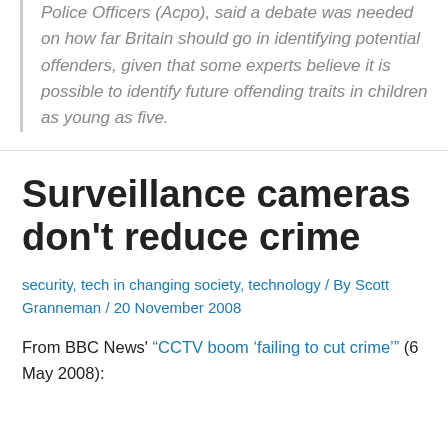Police Officers (Acpo), said a debate was needed on how far Britain should go in identifying potential offenders, given that some experts believe it is possible to identify future offending traits in children as young as five.
Surveillance cameras don't reduce crime
security, tech in changing society, technology / By Scott Granneman / 20 November 2008
From BBC News' "CCTV boom 'failing to cut crime'" (6 May 2008):